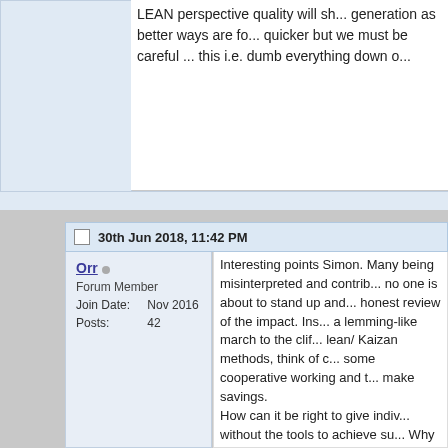LEAN perspective quality will sh... generation as better ways are f... quicker but we must be careful... this i.e. dumb everything down...
30th Jun 2018, 11:42 PM
Orr
Forum Member
Join Date: Nov 2016
Posts: 42
Interesting points Simon. Many being misinterpreted and contri... no one is about to stand up and honest review of the impact. Ins... a lemming-like march to the clif... lean/ Kaizan methods, think of ... some cooperative working and ... make savings. How can it be right to give indiv... without the tools to achieve suc... Why are so many BBMS steppi... or feeling stressed most of the t... be looked at.
Is no one looking at the bigger p...
There is a need to invest and te... factories where everyone is exp... about these people. Think how...